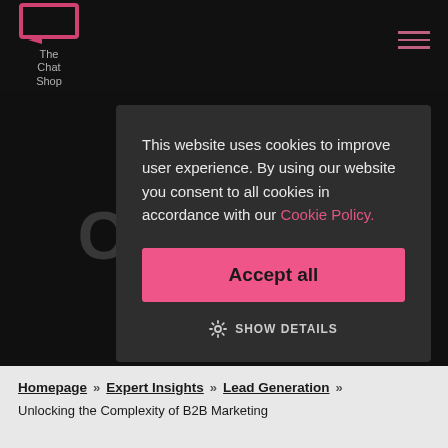The Chat Shop
This website uses cookies to improve user experience. By using our website you consent to all cookies in accordance with our Cookie Policy.
Accept all
SHOW DETAILS
More tha... B buyers are ta... more
Homepage > Expert Insights > Lead Generation > Unlocking the Complexity of B2B Marketing